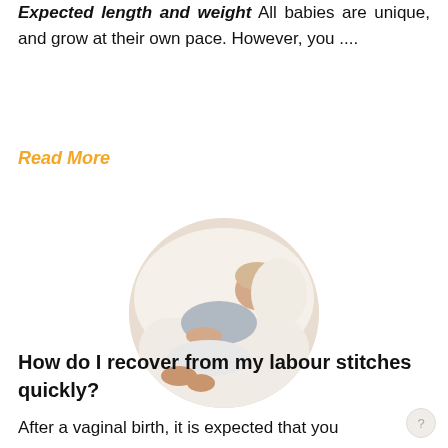Expected length and weight All babies are unique, and grow at their own pace. However, you ....
Read More
[Figure (photo): Circular photo of a pregnant woman resting on a white couch/chair, lying back with feet up, wearing a grey top and white pants.]
How do I recover from my labour stitches quickly?
After a vaginal birth, it is expected that you